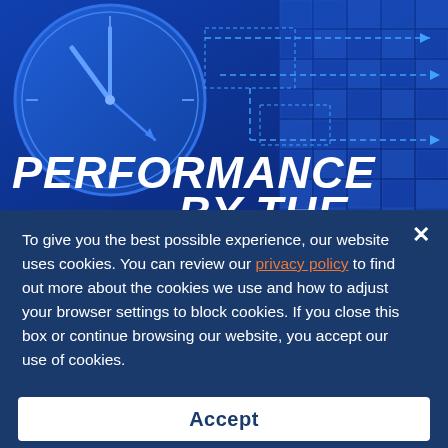[Figure (illustration): Dark blue technology/business themed hero image showing a large analog clock with blue arrows, dashed connecting lines flowing to right, and a wall of blue cube tiles in the background. Large white italic bold text reads 'PERFORMANCE BY THE' overlaid on the image.]
To give you the best possible experience, our website uses cookies. You can review our privacy policy to find out more about the cookies we use and how to adjust your browser settings to block cookies. If you close this box or continue browsing our website, you accept our use of cookies.
Accept